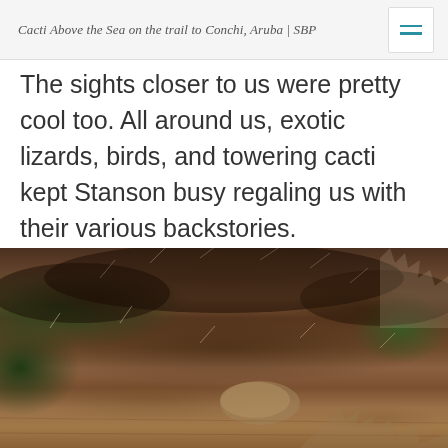Cacti Above the Sea on the trail to Conchi, Aruba | SBP
The sights closer to us were pretty cool too. All around us, exotic lizards, birds, and towering cacti kept Stanson busy regaling us with their various backstories.
[Figure (photo): Close-up macro photograph of spiny cactus base at ground level, showing brown fuzzy spines, rocks, and desert floor. Blurred green cactus visible in background.]